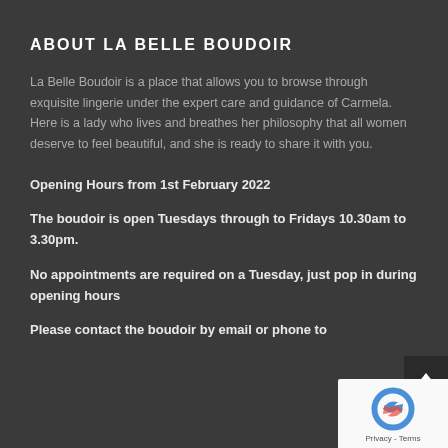ABOUT LA BELLE BOUDOIR
La Belle Boudoir is a place that allows you to browse through exquisite lingerie under the expert care and guidance of Carmela. Here is a lady who lives and breathes her philosophy that all women deserve to feel beautiful, and she is ready to share it with you.
Opening Hours from 1st February 2022
The boudoir is open Tuesdays through to Fridays 10.30am to 3.30pm.
No appointments are required on a Tuesday, just pop in during opening hours
Please contact the boudoir by email or phone to